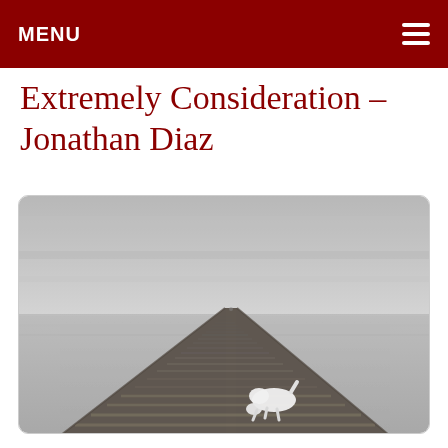MENU
Extremely Consideration – Jonathan Diaz
[Figure (photo): Black and white photograph of a long wooden pier/dock extending into a calm lake or sea under an overcast sky, with a white dog sniffing the dock in the foreground.]